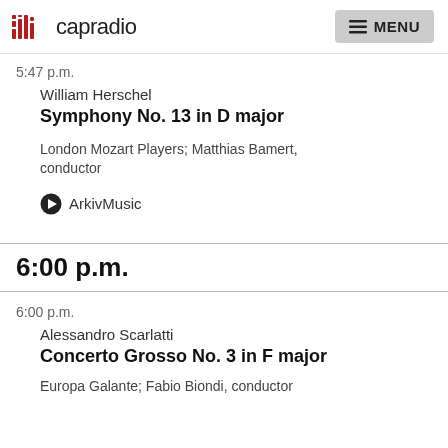capradio MENU
5:47 p.m.
William Herschel
Symphony No. 13 in D major
London Mozart Players; Matthias Bamert, conductor
ArkivMusic
6:00 p.m.
6:00 p.m.
Alessandro Scarlatti
Concerto Grosso No. 3 in F major
Europa Galante; Fabio Biondi, conductor